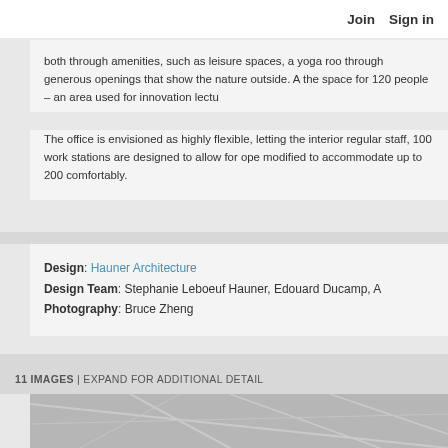Join   Sign in
both through amenities, such as leisure spaces, a yoga room, through generous openings that show the nature outside. A the space for 120 people – an area used for innovation lectu
The office is envisioned as highly flexible, letting the interior regular staff, 100 work stations are designed to allow for ope modified to accommodate up to 200 comfortably.
Design: Hauner Architecture
Design Team: Stephanie Leboeuf Hauner, Edouard Ducamp, A
Photography: Bruce Zheng
11 IMAGES | EXPAND FOR ADDITIONAL DETAIL
[Figure (photo): Interior architectural photo showing ceiling structure with white beams/grid pattern in a grayscale image.]